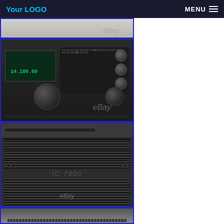Your LOGO  MENU
[Figure (photo): Partial top view of radio transceiver with eBay watermark, cropped at top]
[Figure (photo): Front panel of Icom IC-7600 or similar HF/VHF transceiver showing frequency display reading 14.100.00, knobs, buttons, with blue border and eBay watermark]
[Figure (photo): Top/bottom panel view of radio transceiver showing ventilation slots and heat sink grilles, dark gray metal chassis, with blue border and eBay watermark]
[Figure (photo): Partial bottom view of another radio transceiver panel, partially visible, with blue border]